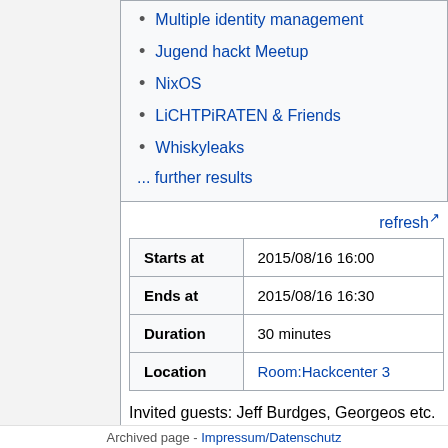Multiple identity management
Jugend hackt Meetup
NixOS
LiCHTPiRATEN & Friends
Whiskyleaks
... further results
refresh
|  |  |
| --- | --- |
| Starts at | 2015/08/16 16:00 |
| Ends at | 2015/08/16 16:30 |
| Duration | 30 minutes |
| Location | Room:Hackcenter 3 |
Invited guests: Jeff Burdges, Georgeos etc.
So the Tor Hidden services DHT is prone to plenty of attacks. Some Tor developers have begun integrating the
Archived page - Impressum/Datenschutz